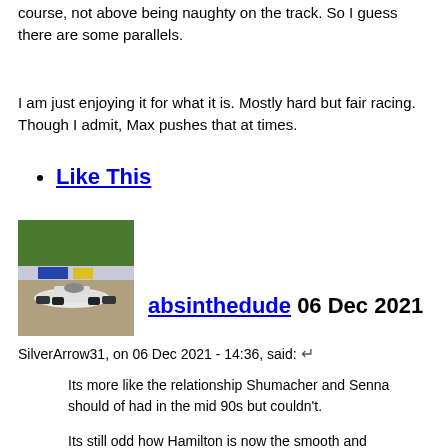course, not above being naughty on the track. So I guess there are some parallels.
I am just enjoying it for what it is. Mostly hard but fair racing. Though I admit, Max pushes that at times.
Like This
[Figure (photo): A race car on a track with green grass and a banner in the background]
absinthedude 06 Dec 2021
SilverArrow31, on 06 Dec 2021 - 14:36, said:
Its more like the relationship Shumacher and Senna should of had in the mid 90s but couldn't.
Its still odd how Hamilton is now the smooth and calculating one after what was said during his time with Button and Rosberg haha